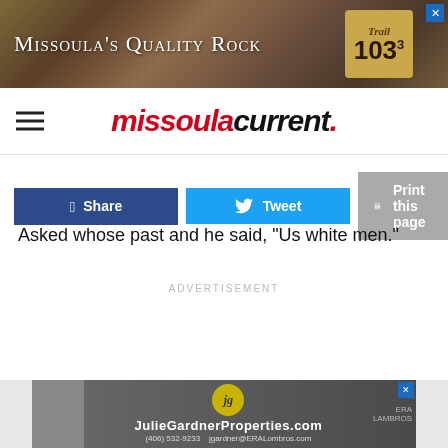[Figure (screenshot): Top advertisement banner: Missoula's Quality Rock with Trail 103.3 radio badge on dark rocky background]
missoulacurrent.
[Figure (screenshot): Social sharing buttons: Share (dark blue), Tweet (light blue), Print this page (gray)]
Asked whose past and he said, “Us white men.”
ADVERTISEMENT
[Figure (screenshot): Bottom advertisement banner for JulieGardnerProperties.com with ERA Lambros branding, phone (406) 532-9233, email jgardner@ERALombros.com]